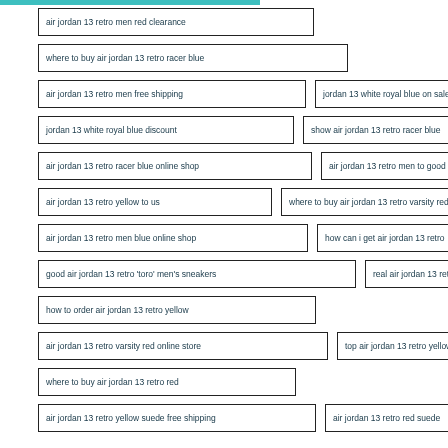air jordan 13 retro men red clearance
where to buy air jordan 13 retro racer blue
air jordan 13 retro men free shipping
jordan 13 white royal blue on sale
jordan 13 white royal blue discount
show air jordan 13 retro racer blue
air jordan 13 retro racer blue online shop
air jordan 13 retro men to good site
air jordan 13 retro yellow to us
where to buy air jordan 13 retro varsity red
air jordan 13 retro men blue online shop
how can i get air jordan 13 retro
good air jordan 13 retro 'toro' men's sneakers
real air jordan 13 retro red
how to order air jordan 13 retro yellow
air jordan 13 retro varsity red online store
top air jordan 13 retro yellow
where to buy air jordan 13 retro red
air jordan 13 retro yellow suede free shipping
air jordan 13 retro red suede